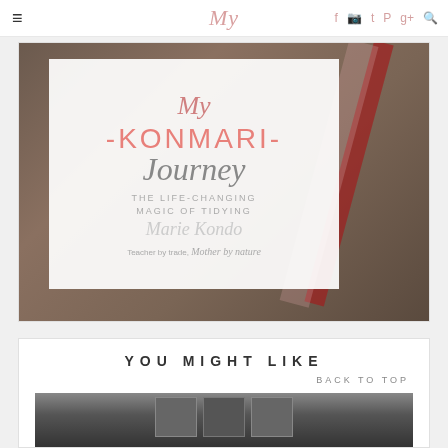My [blog logo] — social icons: facebook, instagram, twitter, pinterest, google+, search
[Figure (photo): Blog post featured image: a Marie Kondo book on a wooden surface with a red ribbon, overlaid with white card text reading 'My -KONMARI- Journey' with subtitle text about the life-changing magic of tidying, author Marie Kondo, and tagline 'Teacher by trade, Mother by nature']
YOU MIGHT LIKE
BACK TO TOP
[Figure (photo): Partial thumbnail image of dark/monochrome items, partially visible at bottom of page]